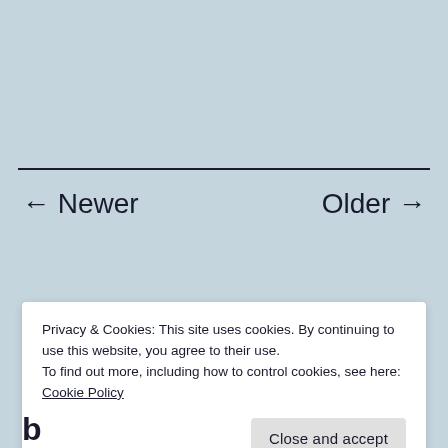← Newer
Older →
Privacy & Cookies: This site uses cookies. By continuing to use this website, you agree to their use.
To find out more, including how to control cookies, see here: Cookie Policy
Close and accept